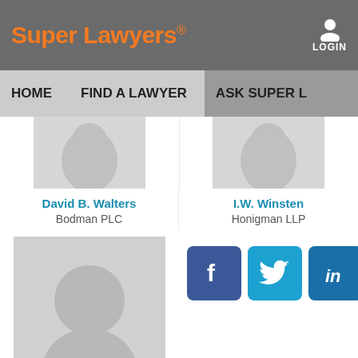Super Lawyers® LOGIN
HOME    FIND A LAWYER    ASK SUPER L...
[Figure (photo): Partial lawyer profile photo placeholder for David B. Walters]
[Figure (photo): Partial lawyer profile photo placeholder for I.W. Winsten]
David B. Walters
Bodman PLC
I.W. Winsten
Honigman LLP
[Figure (photo): Profile photo placeholder silhouette for Sharon M. Woods]
[Figure (infographic): Social media icons: Facebook, Twitter, LinkedIn]
Sharon M. Woods